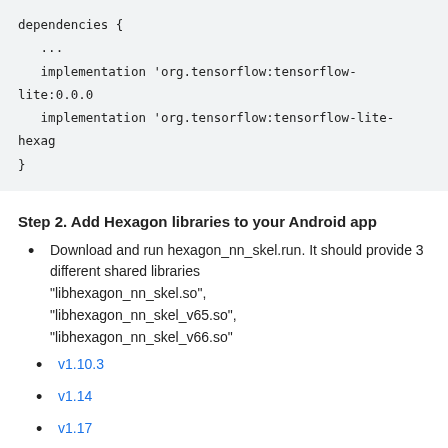[Figure (screenshot): Code block showing Gradle dependencies with tensorflow-lite and tensorflow-lite-hexagon implementations]
Step 2. Add Hexagon libraries to your Android app
Download and run hexagon_nn_skel.run. It should provide 3 different shared libraries "libhexagon_nn_skel.so", "libhexagon_nn_skel_v65.so", "libhexagon_nn_skel_v66.so"
v1.10.3
v1.14
v1.17